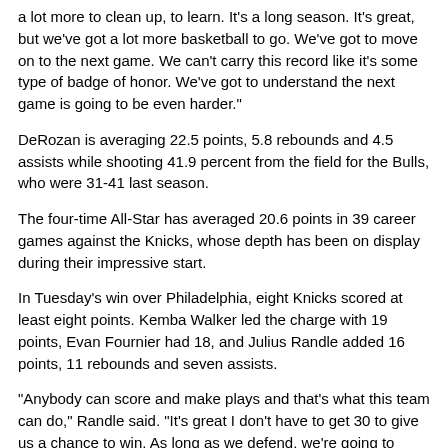a lot more to clean up, to learn. It's a long season. It's great, but we've got a lot more basketball to go. We've got to move on to the next game. We can't carry this record like it's some type of badge of honor. We've got to understand the next game is going to be even harder."
DeRozan is averaging 22.5 points, 5.8 rebounds and 4.5 assists while shooting 41.9 percent from the field for the Bulls, who were 31-41 last season.
The four-time All-Star has averaged 20.6 points in 39 career games against the Knicks, whose depth has been on display during their impressive start.
In Tuesday's win over Philadelphia, eight Knicks scored at least eight points. Kemba Walker led the charge with 19 points, Evan Fournier had 18, and Julius Randle added 16 points, 11 rebounds and seven assists.
"Anybody can score and make plays and that's what this team can do," Randle said. "It's great I don't have to get 30 to give us a chance to win. As long as we defend, we're going to have a shot."
Walker was 5-of-11 from 3-point range for the Knicks, who have not been shy from beyond the arc. New York made 15 of its first 23 attempts in Tuesday's win and are shooting 38 percent on treys through four games.
"Clearly they're a better offensive team because they have more shot makers.